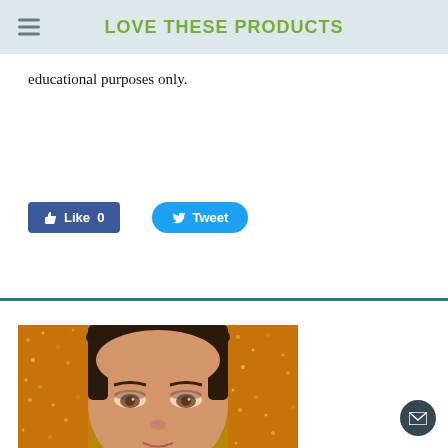LOVE THESE PRODUCTS
educational purposes only.
[Figure (screenshot): Facebook Like button showing count 0 and Twitter Tweet button]
[Figure (photo): Close-up photo of a woman's face with dark hair and eye makeup, against a gold glitter background]